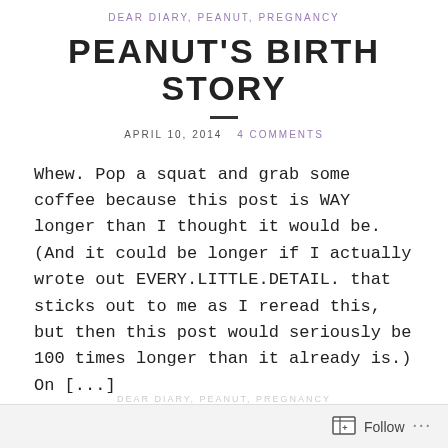DEAR DIARY, PEANUT, PREGNANCY
PEANUT'S BIRTH STORY
APRIL 10, 2014   4 COMMENTS
Whew. Pop a squat and grab some coffee because this post is WAY longer than I thought it would be. (And it could be longer if I actually wrote out EVERY.LITTLE.DETAIL. that sticks out to me as I reread this, but then this post would seriously be 100 times longer than it already is.) On [...]
Follow ...